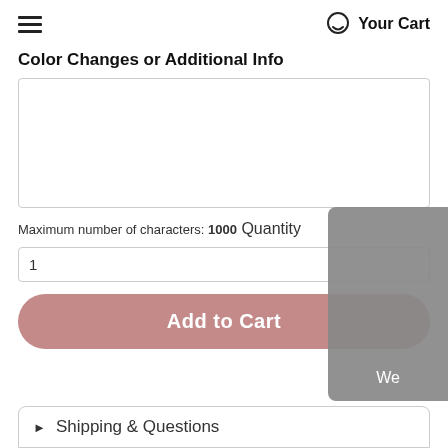Your Cart
Color Changes or Additional Info
Maximum number of characters: 1000
Quantity
1
Add to Cart
▶  Shipping & Questions